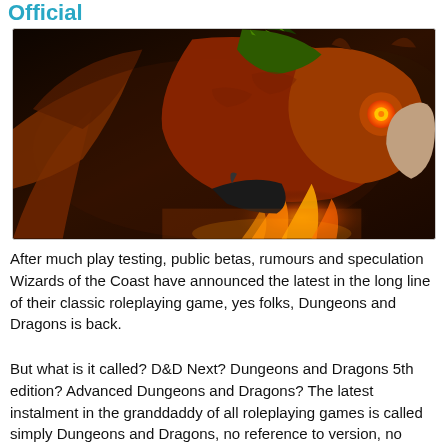Official
[Figure (illustration): Fantasy artwork showing multiple dragons in battle, with glowing orange eyes and fire, dark dramatic scene with wings spread.]
After much play testing, public betas, rumours and speculation Wizards of the Coast have announced the latest in the long line of their classic roleplaying game, yes folks, Dungeons and Dragons is back.
But what is it called? D&D Next? Dungeons and Dragons 5th edition? Advanced Dungeons and Dragons? The latest instalment in the granddaddy of all roleplaying games is called simply Dungeons and Dragons, no reference to version, no advanced and no basic, it simply is and that's the